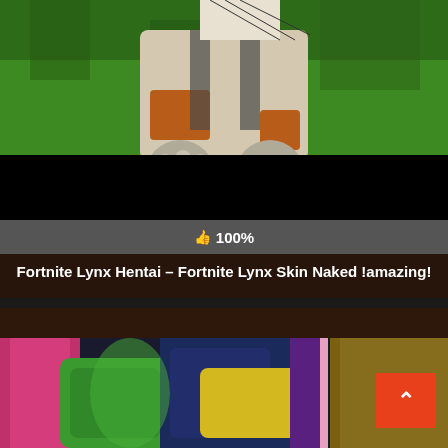[Figure (screenshot): Top portion showing a 3D animated character with armor/mechanical suit elements, holding what appears to be a gun, with green grass background. A black rectangle censors part of the image.]
👍 100%
Fortnite Lynx Hentai – Fortnite Lynx Skin Naked !amazing!
[Figure (screenshot): Bottom portion showing colorful 3D animated character elements in pink, green, yellow, and dark colors with a back-to-top orange button in the lower right corner.]